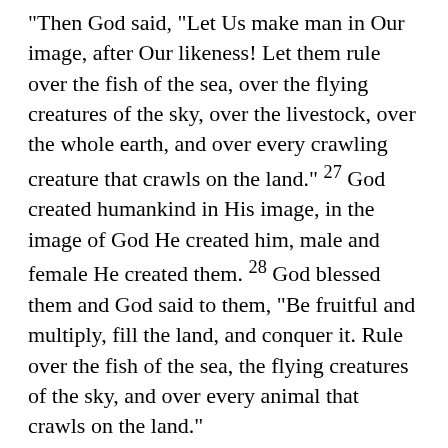“Then God said, “Let Us make man in Our image, after Our likeness! Let them rule over the fish of the sea, over the flying creatures of the sky, over the livestock, over the whole earth, and over every crawling creature that crawls on the land.” 27 God created humankind in His image, in the image of God He created him, male and female He created them. 28 God blessed them and God said to them, “Be fruitful and multiply, fill the land, and conquer it. Rule over the fish of the sea, the flying creatures of the sky, and over every animal that crawls on the land.”
29 Then God said, “I have just given you every green plant yielding seed that is on the surface of the whole land, and every tree,